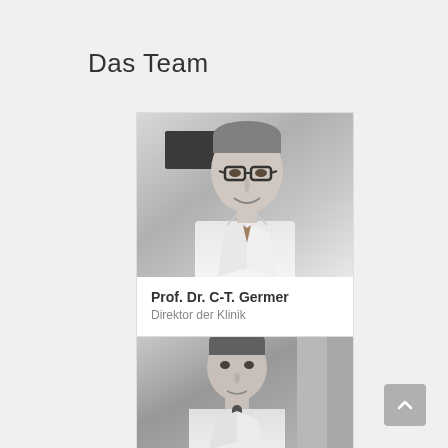Das Team
[Figure (photo): Black and white portrait photo of Prof. Dr. C-T. Germer, a middle-aged man wearing glasses and a white coat with a tie, smiling]
Prof. Dr. C-T. Germer
Direktor der Klinik
[Figure (photo): Black and white portrait photo of a younger man in a white coat, partially visible at the bottom of the page]